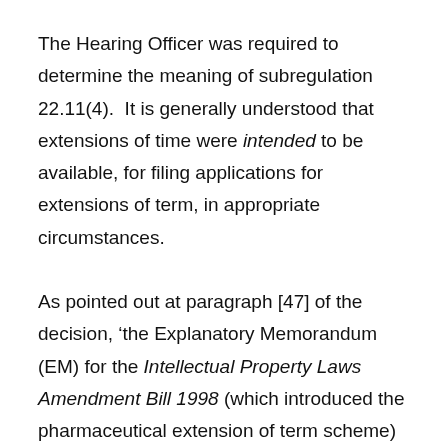The Hearing Officer was required to determine the meaning of subregulation 22.11(4).  It is generally understood that extensions of time were intended to be available, for filing applications for extensions of term, in appropriate circumstances.
As pointed out at paragraph [47] of the decision, 'the Explanatory Memorandum (EM) for the Intellectual Property Laws Amendment Bill 1998 (which introduced the pharmaceutical extension of term scheme) explicitly outlines Parliament's intent to allow the timing provisions of section 71 to be extended under section 223 provided the relevant criteria were satisfied: